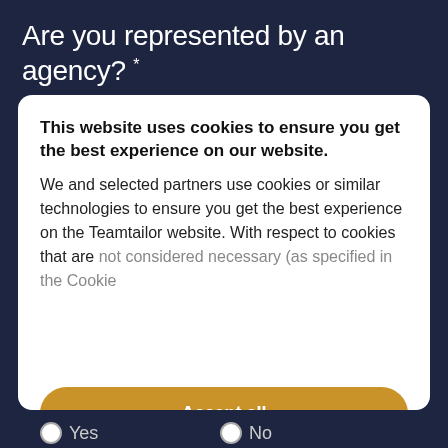Are you represented by an agency? *
This website uses cookies to ensure you get the best experience on our website. We and selected partners use cookies or similar technologies to ensure you get the best experience on the Teamtailor website. With respect to cookies that are not considered necessary (as specified in the Cookie...
Accept all
Disable all
Cookie preferences